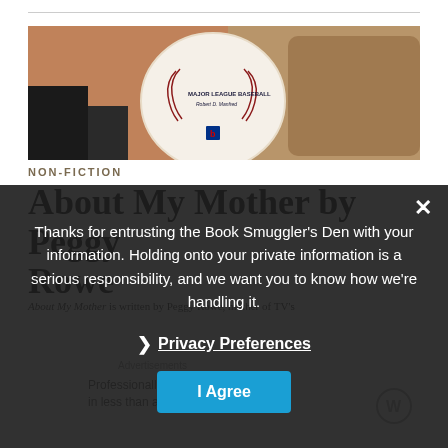[Figure (photo): Close-up photo of an official Major League Baseball with red stitching, resting in a baseball glove, with an orange/crowd background blur]
NON-FICTION
About My Mother by Peggy Rowe
About My Mother is written by Peggy Rowe, mother of TV's
Thanks for entrusting the Book Smuggler's Den with your information. Holding onto your private information is a serious responsibility, and we want you to know how we're handling it.
Privacy Preferences
I Agree